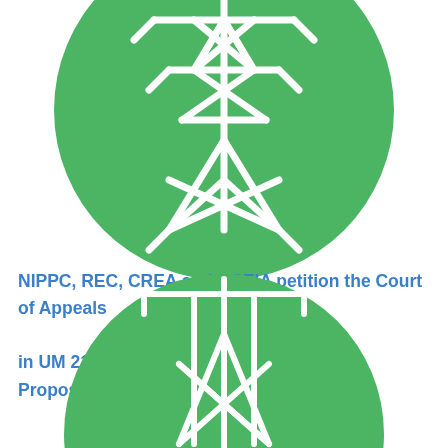[Figure (illustration): Green circle with white electric transmission tower/pylon icon (full circle, top half of page)]
NIPPC, REC, CREA and OSEIA petition the Court of Appeals in UM 2108, PacifiCorp's Queue Reform Proposal, 1/29/21
[Figure (illustration): Green circle with white electric transmission tower/pylon icon (partial circle, bottom of page)]